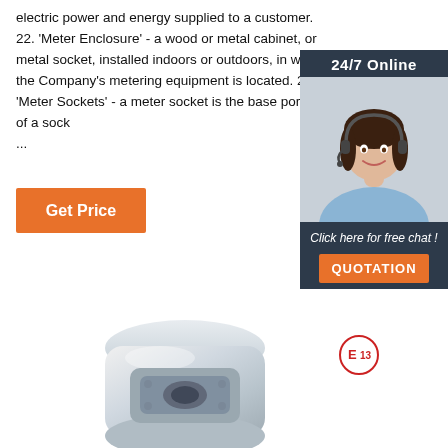electric power and energy supplied to a customer. 22. 'Meter Enclosure' - a wood or metal cabinet, or metal socket, installed indoors or outdoors, in which the Company's metering equipment is located. 23. 'Meter Sockets' - a meter socket is the base portion of a sock... ...
[Figure (other): Orange 'Get Price' button]
[Figure (other): 24/7 Online chat widget with woman wearing headset, 'Click here for free chat!' text and orange QUOTATION button]
[Figure (other): E13 badge/logo circle in red outline]
[Figure (photo): Silver/chrome metal meter socket or enclosure product photo]